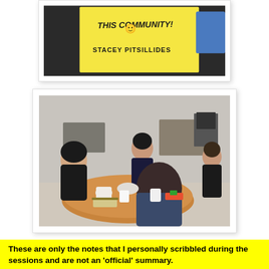[Figure (photo): Yellow sticky note or card with handwritten text reading 'THIS COMMUNITY! :)' and 'STACEY PITSILLIDES' on a dark background]
[Figure (photo): Group of people sitting around a round wooden table in a community space, with mugs, bowls, books and craft supplies on the table. Several participants visible including a woman on the left speaking, a man in the center, a person with curly hair in the foreground, and a woman on the right.]
These are only the notes that I personally scribbled during the sessions and are not an 'official' summary.